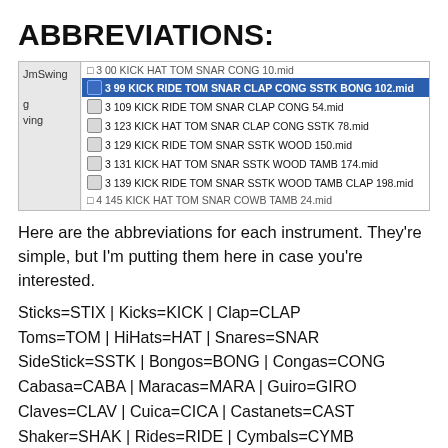ABBREVIATIONS:
[Figure (screenshot): A software UI list showing MIDI drum files. One row is highlighted in blue: '3 99 KICK RIDE TOM SNAR CLAP CONG SSTK BONG 102.mid'. Other rows include similar filenames with instrument abbreviations.]
Here are the abbreviations for each instrument. They're simple, but I'm putting them here in case you're interested.
Sticks=STIX | Kicks=KICK | Clap=CLAP
Toms=TOM | HiHats=HAT | Snares=SNAR
SideStick=SSTK | Bongos=BONG | Congas=CONG
Cabasa=CABA | Maracas=MARA | Guiro=GIRO
Claves=CLAV | Cuica=CICA | Castanets=CAST
Shaker=SHAK | Rides=RIDE | Cymbals=CYMB